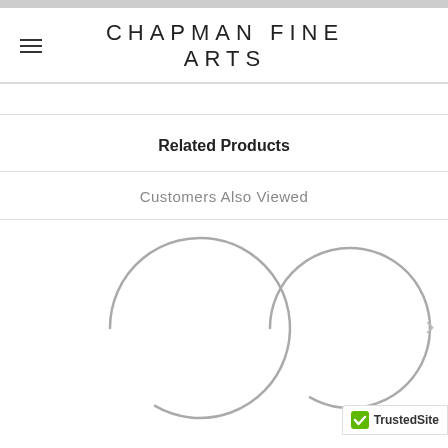CHAPMAN FINE ARTS
Related Products
Customers Also Viewed
[Figure (other): Two loading spinner circles indicating product images are loading, with a right navigation arrow]
[Figure (logo): TrustedSite badge with green checkmark]